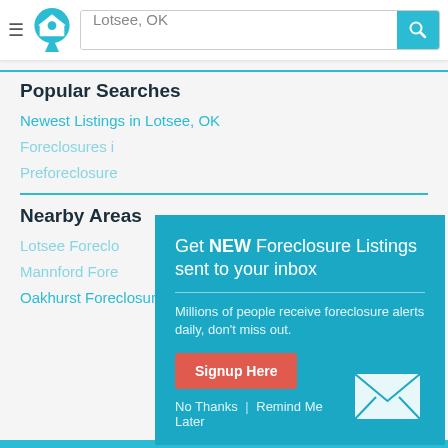[Figure (screenshot): Website header with hamburger menu, home logo icon, search field showing 'Lotsee, OK', and blue search button with magnifier icon]
Popular Searches
Newest Listings in Lotsee, OK
Foreclosures i...
Preforeclosure...
Nearby Areas
Lotsee Foreclo...
Mannford Fore...
Oakhurst Foreclosures
[Figure (screenshot): Modal popup on teal/cyan background: title 'Get NEW Foreclosure Listings sent to your inbox', subtitle 'Millions of people receive foreclosure alerts daily, don't miss out.', red 'Signup Here' button, envelope icon, 'No Thanks | Remind Me Later' links]